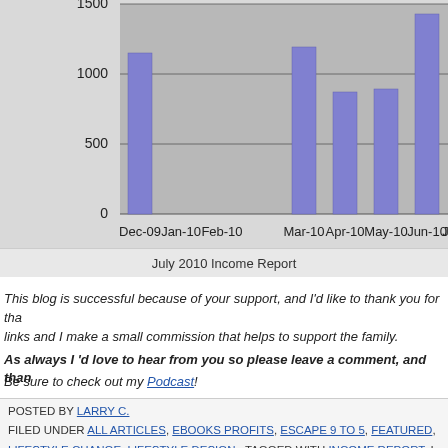[Figure (bar-chart): July 2010 Income Report]
July 2010 Income Report
This blog is successful because of your support, and I'd like to thank you for tha links and I make a small commission that helps to support the family.
As always I 'd love to hear from you so please leave a comment, and than
Be sure to check out my Podcast!
POSTED BY LARRY C. FILED UNDER ALL ARTICLES, EBOOKS PROFITS, ESCAPE 9 TO 5, FEATURED, LIFESTYLE CHANGE, LIFESTYLE DESIGN · TAGGED WITH INCOME REPORT, I